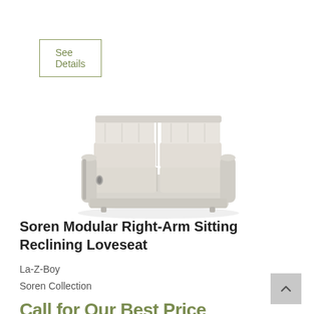See Details
[Figure (photo): Light gray La-Z-Boy Soren Modular Right-Arm Sitting Reclining Loveseat, two-seat reclining sofa in light beige/gray upholstery, shown on white background]
Soren Modular Right-Arm Sitting Reclining Loveseat
La-Z-Boy
Soren Collection
Call for Our Best Price